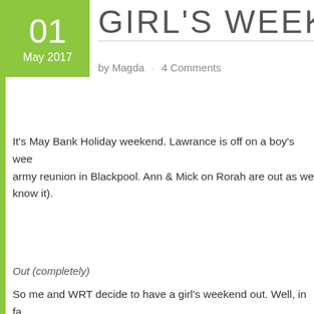GIRL'S WEEKEND OU
by Magda · 4 Comments
It's May Bank Holiday weekend. Lawrance is off on a boy's weekend, army reunion in Blackpool. Ann & Mick on Rorah are out as we... (know it).
Out (completely)
So me and WRT decide to have a girl's weekend out. Well, in fa...